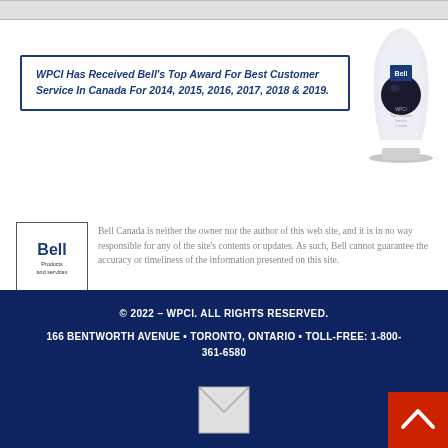[Figure (other): Top gray bar, partial element from above]
WPCI Has Received Bell's Top Award For Best Customer Service In Canada For 2014, 2015, 2016, 2017, 2018 & 2019.
[Figure (photo): Bell award trophy, crystal/acrylic with dark sphere]
[Figure (logo): Bell Products and Services logo in a bordered box]
Bell Canada is neither the owner nor the author of this web site, and it is in no way responsible for any of the site's contents or updates. As such, Bell cannot guarantee the accuracy or timeliness of the information presented on this site.
© 2022 – WPCI. ALL RIGHTS RESERVED.
166 BENTWORTH AVENUE • TORONTO, ONTARIO • TOLL-FREE: 1-800-361-6580